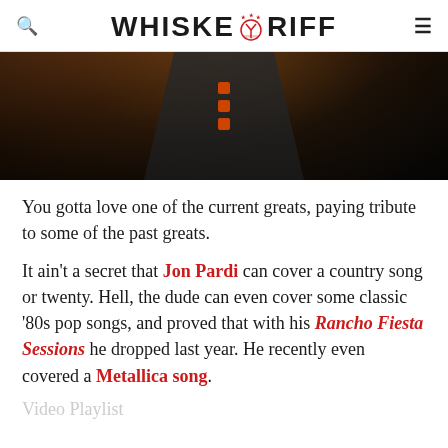WHISKEYRIFF
[Figure (photo): A person in a dark jacket with orange/red buttons, photographed from chest up against a warm brown background.]
You gotta love one of the current greats, paying tribute to some of the past greats.
It ain't a secret that Jon Pardi can cover a country song or twenty. Hell, the dude can even cover some classic '80s pop songs, and proved that with his Rancho Fiesta Sessions he dropped last year. He recently even covered a Metallica song.
Video Playlist